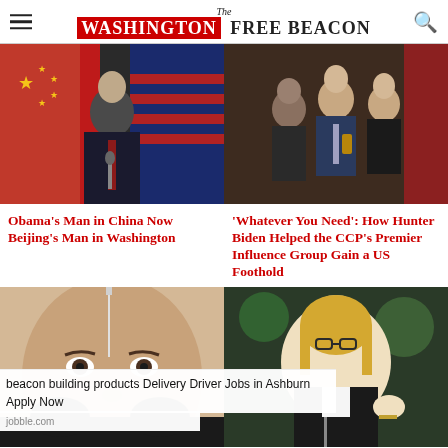The Washington Free Beacon
[Figure (photo): Man in suit speaking at podium with Chinese and US flags behind him]
Obama’s Man in China Now Beijing’s Man in Washington
[Figure (photo): Group of people including older man in suit with younger woman]
‘Whatever You Need’: How Hunter Biden Helped the CCP’s Premier Influence Group Gain a US Foothold
[Figure (photo): Close up of person's face with needle visible]
[Figure (photo): Blonde woman with glasses gesturing, seated at hearing]
beacon building products Delivery Driver Jobs in Ashburn Apply Now
jobble.com